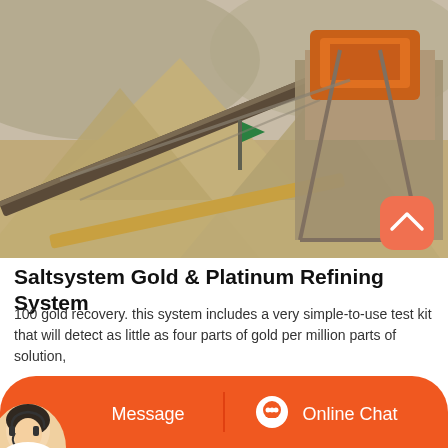[Figure (photo): Aerial/ground-level photo of a mining/quarry site with large conveyor belts, sand/gravel mounds, and industrial crushing equipment on the right side. A green flag is visible in the middle. A coral/orange scroll-up button appears in the bottom-right corner of the image.]
Saltsystem Gold & Platinum Refining System
100 gold recovery. this system includes a very simple-to-use test kit that will detect as little as four parts of gold per million parts of solution,
[Figure (photo): Customer service representative (headset, female) avatar on an orange action bar at the bottom of the page.]
Message
Online Chat